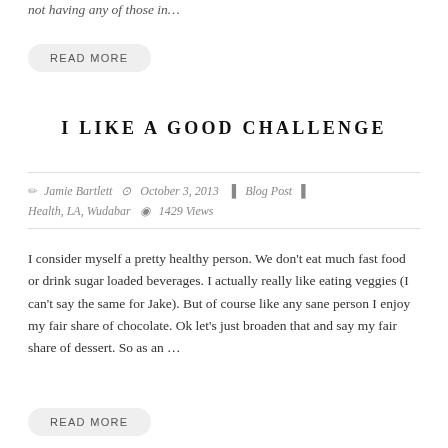not having any of those in…
READ MORE
I LIKE A GOOD CHALLENGE
Jamie Bartlett   October 3, 2013   Blog Post   Health, LA, Wudabar   1429 Views
I consider myself a pretty healthy person. We don't eat much fast food or drink sugar loaded beverages. I actually really like eating veggies (I can't say the same for Jake). But of course like any sane person I enjoy my fair share of chocolate. Ok let's just broaden that and say my fair share of dessert. So as an …
READ MORE